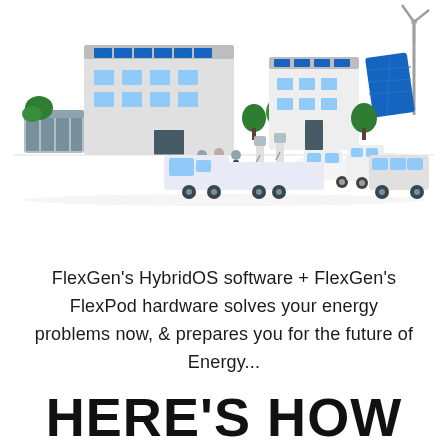[Figure (illustration): Isometric illustration of a smart energy campus with industrial buildings covered in solar panels, EV charging stations, electric cars, a delivery truck, a semi-truck, a bus, a wind turbine, battery storage containers, and green trees.]
FlexGen's HybridOS software + FlexGen's FlexPod hardware solves your energy problems now, & prepares you for the future of Energy...
HERE'S HOW